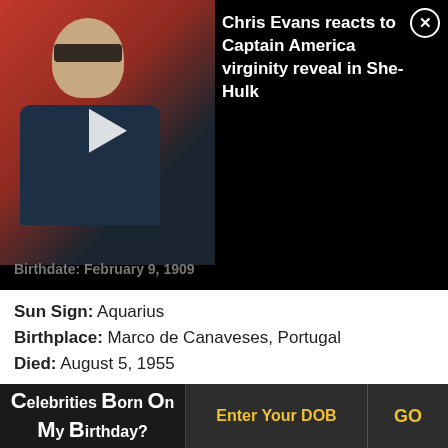[Figure (screenshot): Video thumbnail overlay showing a man with sunglasses and text: 'Chris Evans reacts to Captain America virginity reveal in She-Hulk' with a close button]
Birthdate: February 9, 1909
Sun Sign: Aquarius
Birthplace: Marco de Canaveses, Portugal
Died: August 5, 1955
Carmen Miranda was a Portuguese-born Brazilian samba dancer, singer, film star, and Broadway actress. Nicknamed The Brazilian Bombshell, Miranda is credited with popularizing the fruit hat outfit in the USA. Her performances also popularized Brazilian music and helped increase
Celebrities Born On My Birthday? Enter Your DOB GO